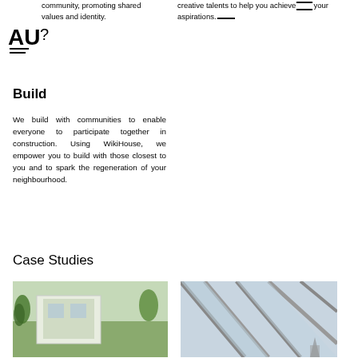[Figure (logo): AU? logo with horizontal lines below]
community, promoting shared values and identity.
creative talents to help you achieve your aspirations.
Build
We build with communities to enable everyone to participate together in construction. Using WikiHouse, we empower you to build with those closest to you and to spark the regeneration of your neighbourhood.
Case Studies
[Figure (photo): Outdoor photo of a WikiHouse building with trees visible]
[Figure (photo): Interior photo showing a skylight or roof window with architectural details]